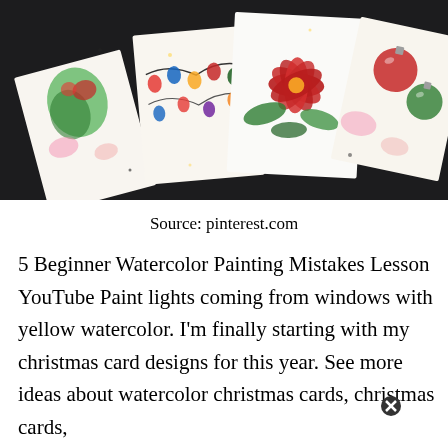[Figure (photo): Multiple watercolor Christmas cards arranged on a dark surface, featuring paintings of poinsettias, Christmas lights/ornaments, and holiday decorations in red, green, and gold watercolors]
Source: pinterest.com
5 Beginner Watercolor Painting Mistakes Lesson YouTube Paint lights coming from windows with yellow watercolor. I'm finally starting with my christmas card designs for this year. See more ideas about watercolor christmas cards, christmas cards,